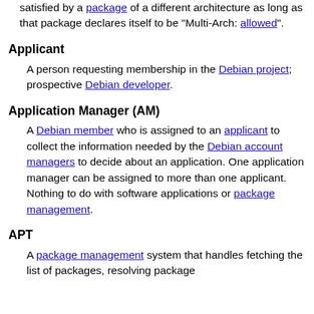satisfied by a package of a different architecture as long as that package declares itself to be "Multi-Arch: allowed".
Applicant
A person requesting membership in the Debian project; prospective Debian developer.
Application Manager (AM)
A Debian member who is assigned to an applicant to collect the information needed by the Debian account managers to decide about an application. One application manager can be assigned to more than one applicant. Nothing to do with software applications or package management.
APT
A package management system that handles fetching the list of packages, resolving package